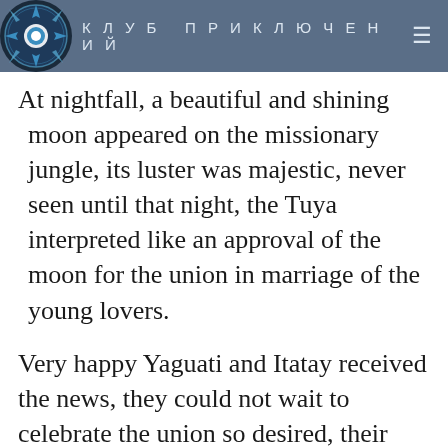КЛУБ ПРИКЛЮЧЕНИЙ
At nightfall, a beautiful and shining moon appeared on the missionary jungle, its luster was majestic, never seen until that night, the Tuya interpreted like an approval of the moon for the union in marriage of the young lovers.
Very happy Yaguati and Itatay received the news, they could not wait to celebrate the union so desired, their afternoon of walks increased, a walk through the thicket around the wild animals, flowers and trees was a real delight for these Young people, shared beautiful afternoon...